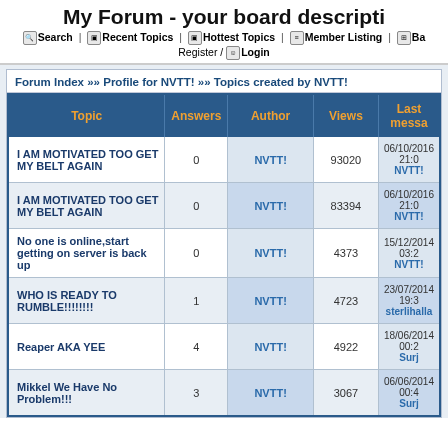My Forum - your board descripti
Search | Recent Topics | Hottest Topics | Member Listing | Ba... | Register / Login
Forum Index >> Profile for NVTT! >> Topics created by NVTT!
| Topic | Answers | Author | Views | Last messa |
| --- | --- | --- | --- | --- |
| I AM MOTIVATED TOO GET MY BELT AGAIN | 0 | NVTT! | 93020 | 06/10/2016 21:0
NVTT! |
| I AM MOTIVATED TOO GET MY BELT AGAIN | 0 | NVTT! | 83394 | 06/10/2016 21:0
NVTT! |
| No one is online,start getting on server is back up | 0 | NVTT! | 4373 | 15/12/2014 03:2
NVTT! |
| WHO IS READY TO RUMBLE!!!!!!!! | 1 | NVTT! | 4723 | 23/07/2014 19:3
sterlihalla |
| Reaper AKA YEE | 4 | NVTT! | 4922 | 18/06/2014 00:2
Surj |
| Mikkel We Have No Problem!!! | 3 | NVTT! | 3067 | 06/06/2014 00:4
Surj |